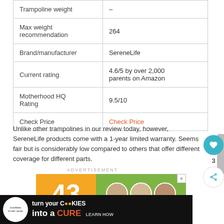|  |  |
| --- | --- |
| Trampoline weight | – |
| Max weight recommendation | 264 |
| Brand/manufacturer | SereneLife |
| Current rating | 4.6/5 by over 2,000 parents on Amazon |
| Motherhood HQ Rating | 9.5/10 |
| Check Price | Check Price |
Unlike other trampolines in our review today, however, SereneLife products come with a 1-year limited warranty. Seems fair but is considerably low compared to others that offer different coverage for different parts.
ADVERTISEMENT
[Figure (photo): Advertisement showing the number 43 on an orange background with three children photos in circular frames on a green background.]
[Figure (photo): Bottom banner ad for Cookies for Kids Cancer: turn your cookies into a cure, learn how.]